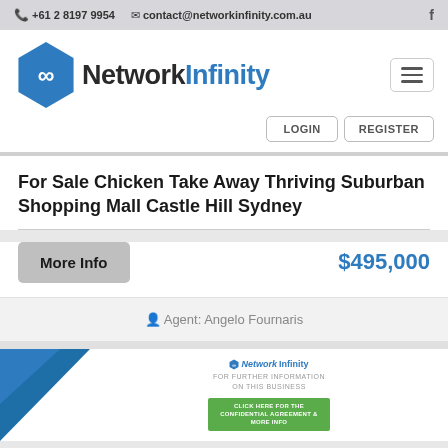+61 2 8197 9954  contact@networkinfinity.com.au  f
[Figure (logo): Network Infinity hexagon logo with infinity symbol and company name]
For Sale Chicken Take Away Thriving Suburban Shopping Mall Castle Hill Sydney
More Info  $495,000
Agent: Angelo Fournaris
[Figure (infographic): Network Infinity business listing card preview with blue triangle, logo, FOR FURTHER INFORMATION ON THIS BUSINESS tagline, and green button]